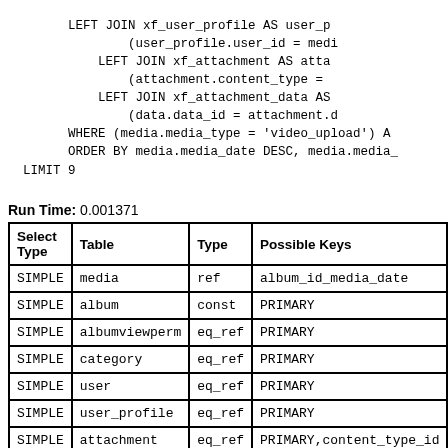LEFT JOIN xf_user_profile AS user_p
        (user_profile.user_id = medi
        LEFT JOIN xf_attachment AS atta
        (attachment.content_type =
        LEFT JOIN xf_attachment_data AS
        (data.data_id = attachment.d
    WHERE (media.media_type = 'video_upload') A
    ORDER BY media.media_date DESC, media.media
  LIMIT 9
Run Time: 0.001371
| Select Type | Table | Type | Possible Keys |
| --- | --- | --- | --- |
| SIMPLE | media | ref | album_id_media_date |
| SIMPLE | album | const | PRIMARY |
| SIMPLE | albumviewperm | eq_ref | PRIMARY |
| SIMPLE | category | eq_ref | PRIMARY |
| SIMPLE | user | eq_ref | PRIMARY |
| SIMPLE | user_profile | eq_ref | PRIMARY |
| SIMPLE | attachment | eq_ref | PRIMARY,content_type_id |